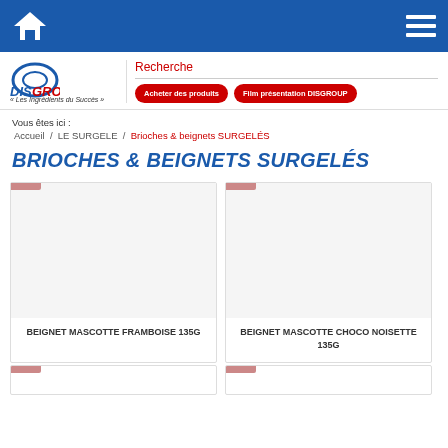[Figure (screenshot): Website navigation bar with blue background, home icon on left, hamburger menu icon on right]
[Figure (logo): DISGROUP logo with circular icon and tagline Les Ingrédients du Succès]
Recherche
Acheter des produits
Film présentation DISGROUP
Vous êtes ici :
Accueil / LE SURGELE / Brioches & beignets SURGELÉS
BRIOCHES & BEIGNETS SURGELÉS
BEIGNET MASCOTTE FRAMBOISE 135G
BEIGNET MASCOTTE CHOCO NOISETTE 135G